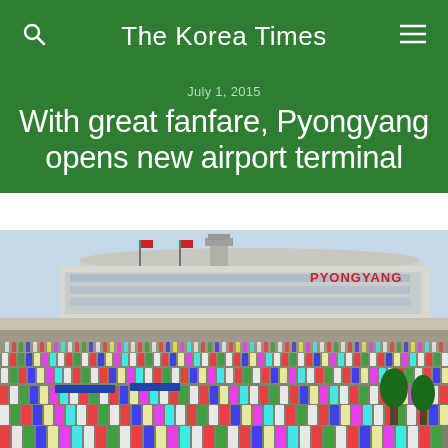The Korea Times
July 1, 2015
With great fanfare, Pyongyang opens new airport terminal
[Figure (photo): Large crowd of people in colorful traditional dress gathered in front of the new Pyongyang airport terminal building, with 'PYONGYANG' written in red letters on the terminal facade.]